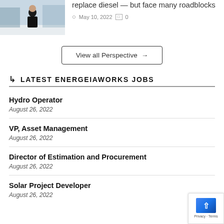[Figure (photo): Person standing outdoors in snow, wearing dark winter coat]
replace diesel — but face many roadblocks
May 10, 2022   0
View all Perspective →
LATEST ENERGEIAWORKS JOBS
Hydro Operator
August 26, 2022
VP, Asset Management
August 26, 2022
Director of Estimation and Procurement
August 26, 2022
Solar Project Developer
August 26, 2022